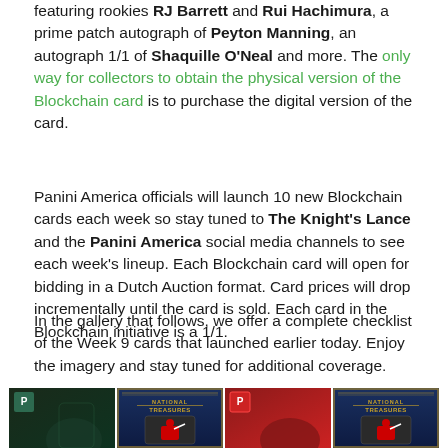featuring rookies RJ Barrett and Rui Hachimura, a prime patch autograph of Peyton Manning, an autograph 1/1 of Shaquille O'Neal and more. The only way for collectors to obtain the physical version of the Blockchain card is to purchase the digital version of the card.
Panini America officials will launch 10 new Blockchain cards each week so stay tuned to The Knight's Lance and the Panini America social media channels to see each week's lineup. Each Blockchain card will open for bidding in a Dutch Auction format. Card prices will drop incrementally until the card is sold. Each card in the Blockchain initiative is a 1/1.
In the gallery that follows, we offer a complete checklist of the Week 9 cards that launched earlier today. Enjoy the imagery and stay tuned for additional coverage.
[Figure (photo): Four trading cards shown at the bottom: two Panini Prizm style cards featuring basketball players (Giannis and another player) and two National Treasures cards with patch swatches]